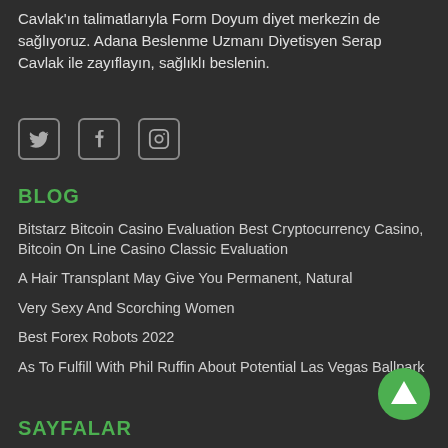Cavlak'ın talimatlarıyla Form Doyum diyet merkezin de sağlıyoruz. Adana Beslenme Uzmanı Diyetisyen Serap Cavlak ile zayıflayın, sağlıklı beslenin.
[Figure (other): Social media icons: Twitter, Facebook, Instagram]
BLOG
Bitstarz Bitcoin Casino Evaluation Best Cryptocurrency Casino, Bitcoin On Line Casino Classic Evaluation
A Hair Transplant May Give You Permanent, Natural
Very Sexy And Scorching Women
Best Forex Robots 2022
As To Fulfill With Phil Ruffin About Potential Las Vegas Ballpark
SAYFALAR